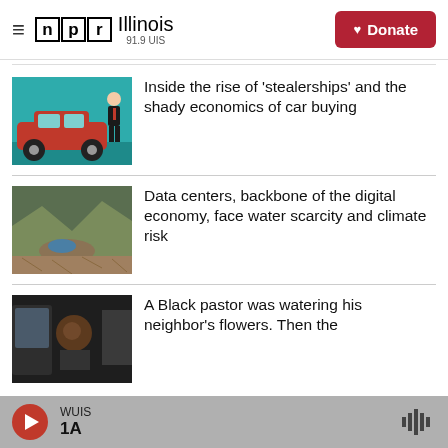NPR Illinois 91.9 UIS | Donate
[Figure (illustration): Illustration of a man in a suit standing next to a red car on a teal background]
Inside the rise of 'stealerships' and the shady economics of car buying
[Figure (photo): Aerial photo of a dry landscape with a small body of water]
Data centers, backbone of the digital economy, face water scarcity and climate risk
[Figure (photo): Photo of a Black pastor sitting inside a car]
A Black pastor was watering his neighbor's flowers. Then the
WUIS | 1A